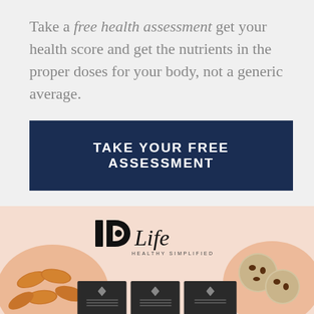Take a free health assessment get your health score and get the nutrients in the proper doses for your body, not a generic average.
[Figure (other): Dark navy blue call-to-action button with white uppercase bold text: TAKE YOUR FREE ASSESSMENT]
[Figure (photo): IDLife Healthy Simplified branded product image on a pink/peach background. Shows IDLife logo at top center, almonds on left side in an organic blob shape, chocolate cookies on right side in an organic blob shape, and dark product boxes at the bottom center.]